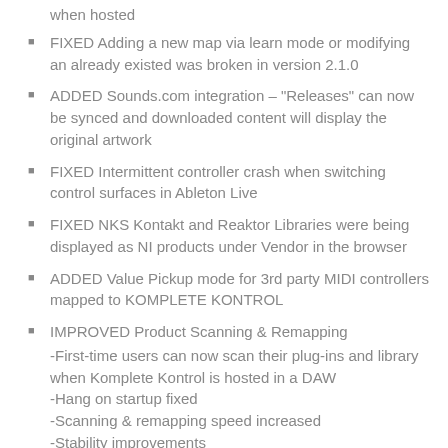when hosted
FIXED Adding a new map via learn mode or modifying an already existed was broken in version 2.1.0
ADDED Sounds.com integration – "Releases" can now be synced and downloaded content will display the original artwork
FIXED Intermittent controller crash when switching control surfaces in Ableton Live
FIXED NKS Kontakt and Reaktor Libraries were being displayed as NI products under Vendor in the browser
ADDED Value Pickup mode for 3rd party MIDI controllers mapped to KOMPLETE KONTROL
IMPROVED Product Scanning & Remapping
-First-time users can now scan their plug-ins and library when Komplete Kontrol is hosted in a DAW
-Hang on startup fixed
-Scanning & remapping speed increased
-Stability improvements
-There is an "Update" button to migrate former "Sub-Sub-